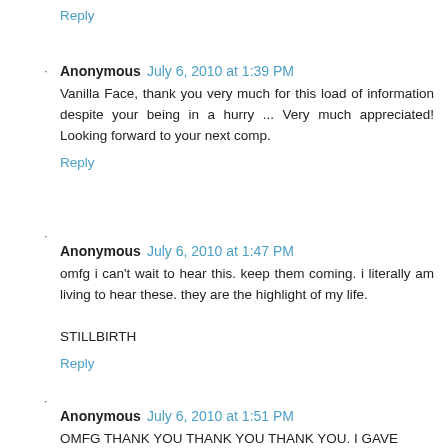Reply
Anonymous  July 6, 2010 at 1:39 PM
Vanilla Face, thank you very much for this load of information despite your being in a hurry ... Very much appreciated! Looking forward to your next comp.
Reply
Anonymous  July 6, 2010 at 1:47 PM
omfg i can't wait to hear this. keep them coming. i literally am living to hear these. they are the highlight of my life.

STILLBIRTH
Reply
Anonymous  July 6, 2010 at 1:51 PM
OMFG THANK YOU THANK YOU THANK YOU. I GAVE